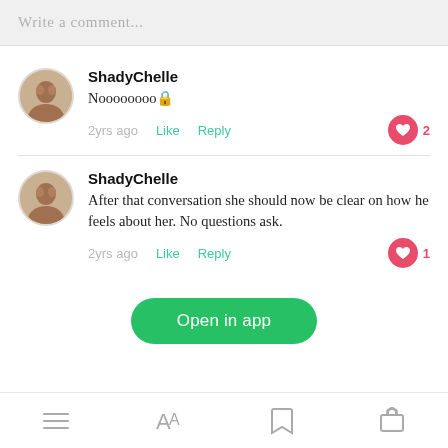Write a comment...
ShadyChelle
Noooooooo🔒
2yrs ago  Like  Reply  ❤ 2
ShadyChelle
After that conversation she should now be clear on how he feels about her. No questions ask.
2yrs ago  Like  Reply  ❤ 1
Open in app